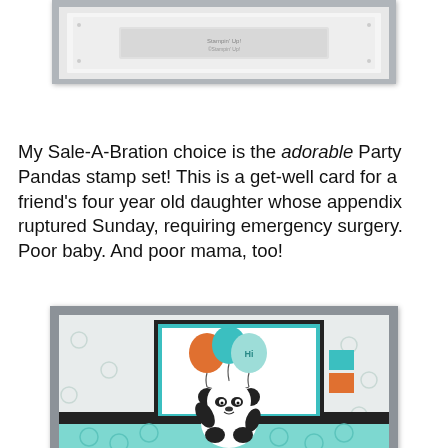[Figure (photo): Top portion of a greeting card/stamp set showing embossed white cardstock with text stamp, on a gray background]
My Sale-A-Bration choice is the adorable Party Pandas stamp set! This is a get-well card for a friend's four year old daughter whose appendix ruptured Sunday, requiring emergency surgery. Poor baby. And poor mama, too!
[Figure (photo): A handmade get-well card featuring a cute panda bear holding balloons (teal, orange, teal) with 'Hi' written on the front balloon. Card has teal and black accents with a decorative banner element on the right side. Background has a light teal polka dot pattern.]